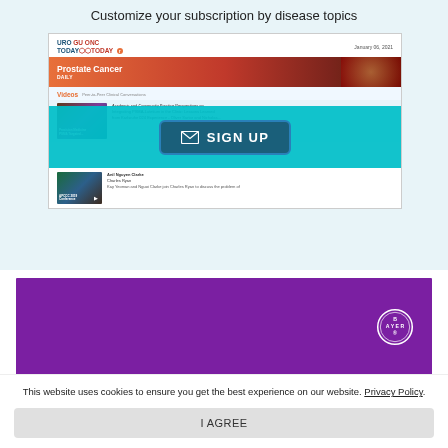Customize your subscription by disease topics
[Figure (screenshot): Screenshot of UROtoday / GU ONC Today newsletter dated January 06, 2021 showing a Prostate Cancer Daily section with a teal Sign Up button overlay, and a Videos section with PSMA Targeted article thumbnail]
[Figure (illustration): Purple/magenta Bayer advertisement banner with Bayer logo circle on the right]
This website uses cookies to ensure you get the best experience on our website. Privacy Policy
I AGREE